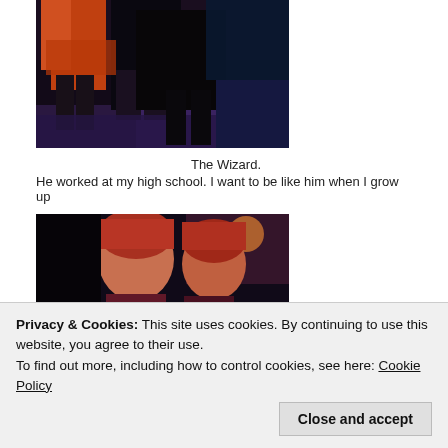[Figure (photo): Dark stage photo showing performers' legs and feet with orange/red costume and dark background with purple lighting]
The Wizard.
He worked at my high school. I want to be like him when I grow up
[Figure (photo): Two performers with red/orange hair and colorful costumes on a dark stage with pink/purple lighting]
Privacy & Cookies: This site uses cookies. By continuing to use this website, you agree to their use.
To find out more, including how to control cookies, see here: Cookie Policy